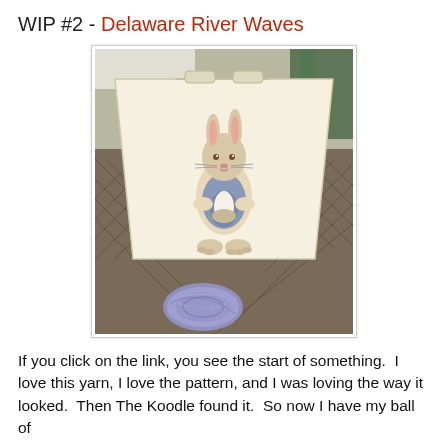WIP #2 - Delaware River Waves
[Figure (photo): A canvas project bag with a Peter Rabbit illustration sitting on a wicker/mesh basket, with a ball of purple/lavender yarn in front of it.]
If you click on the link, you see the start of something.  I love this yarn, I love the pattern, and I was loving the way it looked.  Then The Koodle found it.  So now I have my ball of